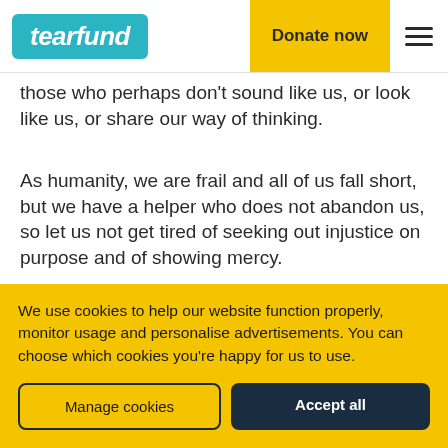tearfund | Donate now
those who perhaps don't sound like us, or look like us, or share our way of thinking.
As humanity, we are frail and all of us fall short, but we have a helper who does not abandon us, so let us not get tired of seeking out injustice on purpose and of showing mercy.
We use cookies to help our website function properly, monitor usage and personalise advertisements. You can choose which cookies you're happy for us to use.